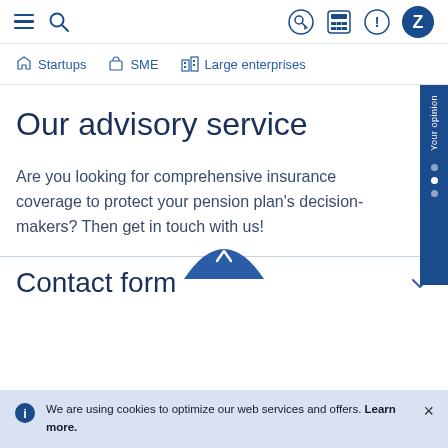Navigation bar with hamburger menu, search icon, and Zurich insurance icons
Startups
SME
Large enterprises
Our advisory service
Are you looking for comprehensive insurance coverage to protect your pension plan's decision-makers? Then get in touch with us!
Contact form
We are using cookies to optimize our web services and offers. Learn more.